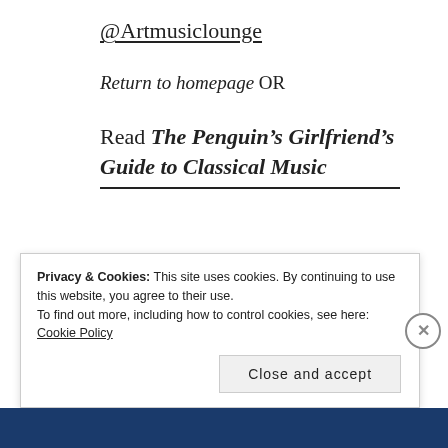@Artmusiclounge
Return to homepage OR
Read The Penguin’s Girlfriend’s Guide to Classical Music
Privacy & Cookies: This site uses cookies. By continuing to use this website, you agree to their use.
To find out more, including how to control cookies, see here: Cookie Policy
Close and accept